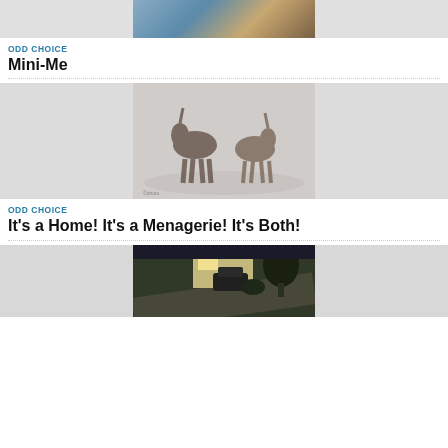[Figure (photo): Partial photo of what appears to be a decorative table with blue resin/ocean-themed artwork, cropped at top]
ODD CHOICE
Mini-Me
[Figure (photo): Two horse foals facing each other touching noses in a misty/foggy field, silhouetted against light background]
ODD CHOICE
It’s a Home! It’s a Menagerie! It’s Both!
[Figure (photo): Partial photo of a residential street scene with a house, vehicle, and trees visible, shot from an angle]